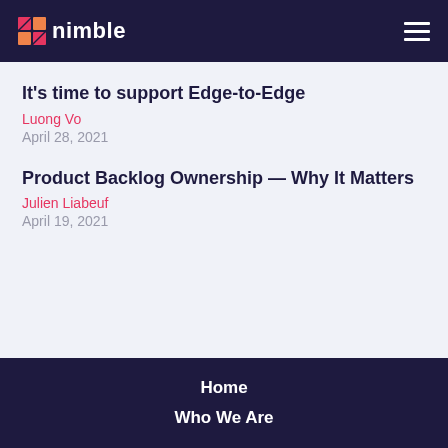nimble
It's time to support Edge-to-Edge
Luong Vo
April 28, 2021
Product Backlog Ownership — Why It Matters
Julien Liabeuf
April 19, 2021
Home
Who We Are